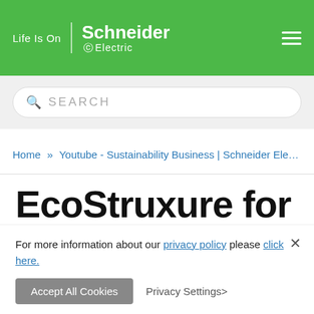Life Is On | Schneider Electric
SEARCH
Home » Youtube - Sustainability Business | Schneider Electric ...
EcoStruxure for Restaurants in 60 Seconds
For more information about our privacy policy please click here.
Accept All Cookies   Privacy Settings>